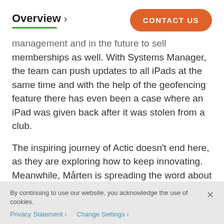Overview >
management and in the future to sell memberships as well. With Systems Manager, the team can push updates to all iPads at the same time and with the help of the geofencing feature there has even been a case where an iPad was given back after it was stolen from a club.
The inspiring journey of Actic doesn't end here, as they are exploring how to keep innovating. Meanwhile, Mårten is spreading the word about their deployment: “Whenever I
By continuing to use our website, you acknowledge the use of cookies.
Privacy Statement > Change Settings >